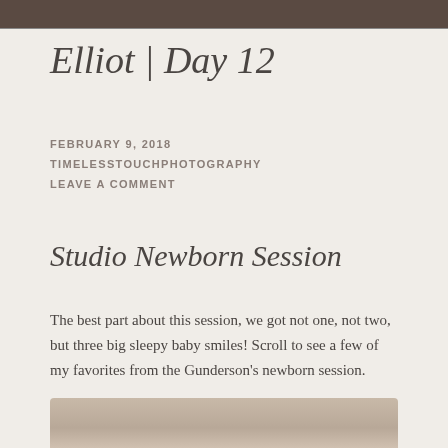[Figure (photo): Partial photo visible at top of page, appears to be a dark/shadowed image]
Elliot | Day 12
FEBRUARY 9, 2018
TIMELESSTOUCHPHOTOGRAPHY
LEAVE A COMMENT
Studio Newborn Session
The best part about this session, we got not one, not two, but three big sleepy baby smiles! Scroll to see a few of my favorites from the Gunderson's newborn session.
[Figure (photo): Bottom portion of a newborn photography studio photo, warm beige tones visible]